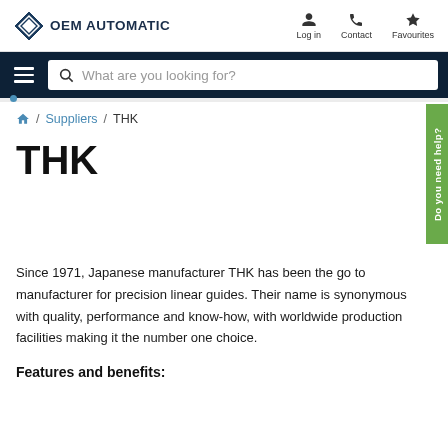OEM AUTOMATIC — Log in | Contact | Favourites
[Figure (screenshot): Navigation bar with hamburger menu and search box reading 'What are you looking for?']
/ Suppliers / THK
THK
Since 1971, Japanese manufacturer THK has been the go to manufacturer for precision linear guides. Their name is synonymous with quality, performance and know-how, with worldwide production facilities making it the number one choice.
Features and benefits: